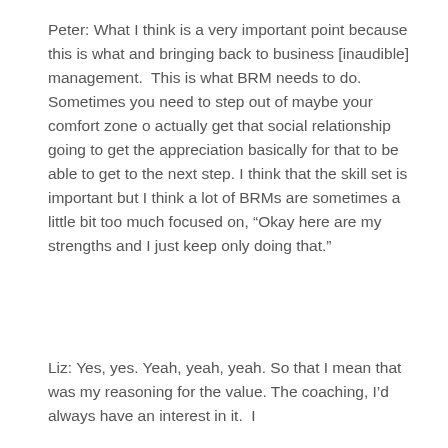Peter: What I think is a very important point because this is what and bringing back to business [inaudible] management.  This is what BRM needs to do. Sometimes you need to step out of maybe your comfort zone o actually get that social relationship going to get the appreciation basically for that to be able to get to the next step. I think that the skill set is important but I think a lot of BRMs are sometimes a little bit too much focused on, “Okay here are my strengths and I just keep only doing that.”
Liz: Yes, yes. Yeah, yeah, yeah. So that I mean that was my reasoning for the value. The coaching, I’d always have an interest in it.  I